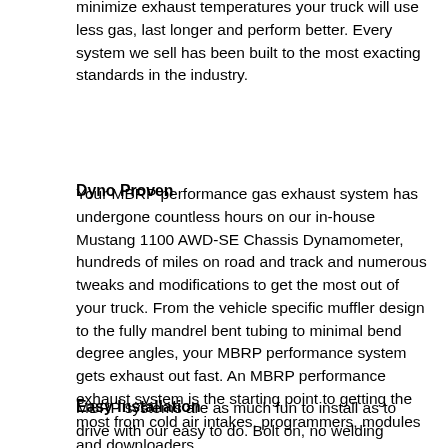minimize exhaust temperatures your truck will use less gas, last longer and perform better. Every system we sell has been built to the most exacting standards in the industry.
Dyno Proven
Your MBRP performance gas exhaust system has undergone countless hours on our in-house Mustang 1100 AWD-SE Chassis Dynamometer, hundreds of miles on road and track and numerous tweaks and modifications to get the most out of your truck. From the vehicle specific muffler design to the fully mandrel bent tubing to minimal bend degree angles, your MBRP performance system gets exhaust out fast. An MBRP performance exhaust system is the starting point to getting the most from cold air intakes, programmers, modules and downloaders.
Easy Installation
MBRP systems are as much fun to install as to drive with our easy to do. Bolt on, no welding required.